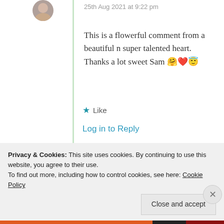25th Aug 2021 at 9:22 pm
This is a flowerful comment from a beautiful n super talented heart. Thanks a lot sweet Sam 🤗❤️😇
★ Like
Log in to Reply
Michele Lee
Privacy & Cookies: This site uses cookies. By continuing to use this website, you agree to their use. To find out more, including how to control cookies, see here: Cookie Policy
Close and accept